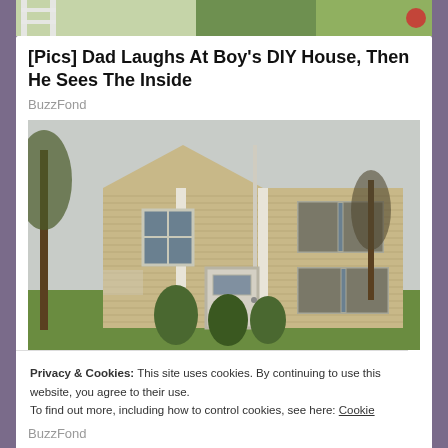[Figure (photo): Partial top strip of an outdoor/backyard photo showing green grass and a white ladder/frame structure]
[Pics] Dad Laughs At Boy's DIY House, Then He Sees The Inside
BuzzFond
[Figure (photo): Exterior photo of a two-story colonial-style house with tan/beige vinyl siding, white trim, white front door, evergreen shrubs, and trees in autumn]
Privacy & Cookies: This site uses cookies. By continuing to use this website, you agree to their use.
To find out more, including how to control cookies, see here: Cookie Policy.
Close and accept
BuzzFond